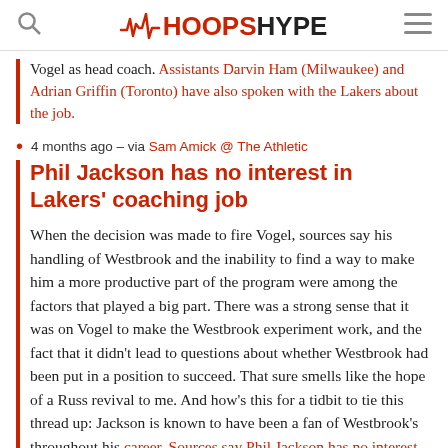HOOPSHYPE
Vogel as head coach. Assistants Darvin Ham (Milwaukee) and Adrian Griffin (Toronto) have also spoken with the Lakers about the job.
4 months ago – via Sam Amick @ The Athletic
Phil Jackson has no interest in Lakers' coaching job
When the decision was made to fire Vogel, sources say his handling of Westbrook and the inability to find a way to make him a more productive part of the program were among the factors that played a big part. There was a strong sense that it was on Vogel to make the Westbrook experiment work, and the fact that it didn't lead to questions about whether Westbrook had been put in a position to succeed. That sure smells like the hope of a Russ revival to me. And how's this for a tidbit to tie this thread up: Jackson is known to have been a fan of Westbrook's throughout his career. Sources say Phil Jackson has no interest in taking on this coaching